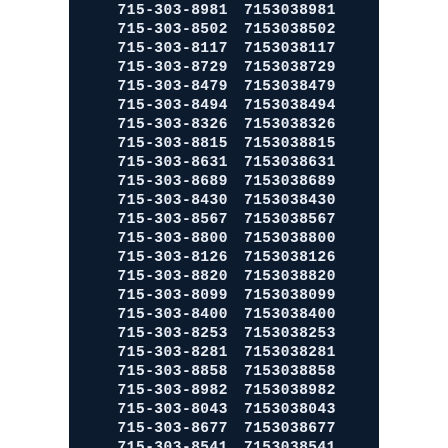| 715-303-8981 | 7153038981 |
| 715-303-8502 | 7153038502 |
| 715-303-8117 | 7153038117 |
| 715-303-8729 | 7153038729 |
| 715-303-8479 | 7153038479 |
| 715-303-8494 | 7153038494 |
| 715-303-8326 | 7153038326 |
| 715-303-8815 | 7153038815 |
| 715-303-8631 | 7153038631 |
| 715-303-8689 | 7153038689 |
| 715-303-8430 | 7153038430 |
| 715-303-8567 | 7153038567 |
| 715-303-8800 | 7153038800 |
| 715-303-8126 | 7153038126 |
| 715-303-8820 | 7153038820 |
| 715-303-8099 | 7153038099 |
| 715-303-8400 | 7153038400 |
| 715-303-8253 | 7153038253 |
| 715-303-8281 | 7153038281 |
| 715-303-8858 | 7153038858 |
| 715-303-8982 | 7153038982 |
| 715-303-8043 | 7153038043 |
| 715-303-8677 | 7153038677 |
| 715-303-8541 | 7153038541 |
| 715-303-8551 | 7153038551 |